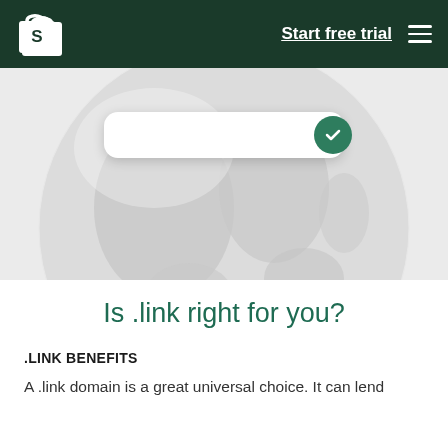Start free trial
[Figure (illustration): Shopify globe illustration with a white rounded search bar containing a green checkmark circle on the right, overlaid on a light grey globe/world graphic]
Is .link right for you?
.LINK BENEFITS
A .link domain is a great universal choice. It can lend